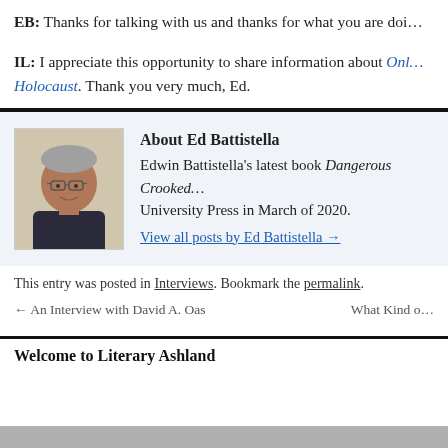EB: Thanks for talking with us and thanks for what you are doi…
IL: I appreciate this opportunity to share information about Onl… Holocaust. Thank you very much, Ed.
[Figure (photo): Headshot of Ed Battistella, a man with gray hair and glasses wearing a dark shirt]
About Ed Battistella
Edwin Battistella's latest book Dangerous Crooked… University Press in March of 2020.
View all posts by Ed Battistella →
This entry was posted in Interviews. Bookmark the permalink.
← An Interview with David A. Oas   What Kind o…
Welcome to Literary Ashland